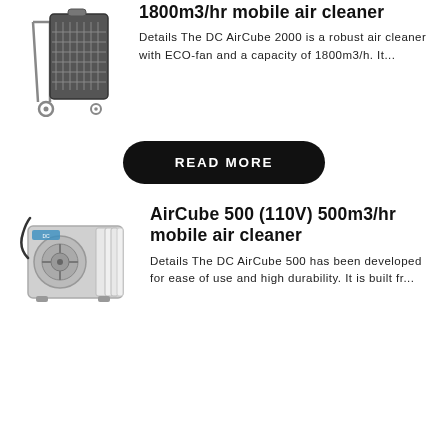[Figure (photo): Mobile air cleaner unit on wheels (DC AirCube 2000), dark industrial fan box with wheels]
1800m3/hr mobile air cleaner
Details The DC AirCube 2000 is a robust air cleaner with ECO-fan and a capacity of 1800m3/h. It...
READ MORE
[Figure (photo): AirCube 500 mobile air cleaner unit, box-shaped with visible HEPA filter panels on side]
AirCube 500 (110V) 500m3/hr mobile air cleaner
Details The DC AirCube 500 has been developed for ease of use and high durability. It is built fr...